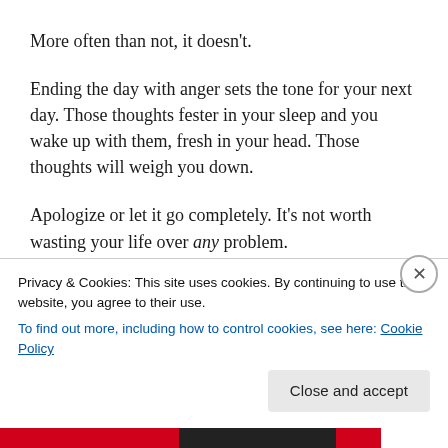More often than not, it doesn't.
Ending the day with anger sets the tone for your next day. Those thoughts fester in your sleep and you wake up with them, fresh in your head. Those thoughts will weigh you down.
Apologize or let it go completely. It's not worth wasting your life over any problem.
For me, I know everything will be fine if I follow these consistently. And maybe, I can laugh, be grateful for the advice and shrug it off the next time someone tells me
Privacy & Cookies: This site uses cookies. By continuing to use this website, you agree to their use.
To find out more, including how to control cookies, see here: Cookie Policy
Close and accept